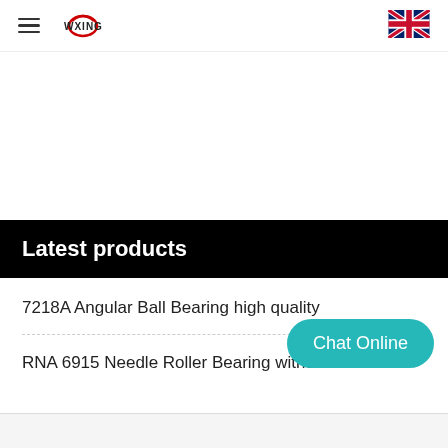WXING (hamburger menu, logo, UK flag)
Latest products
7218A Angular Ball Bearing high quality
RNA 6915 Needle Roller Bearing without In...
Chat Online